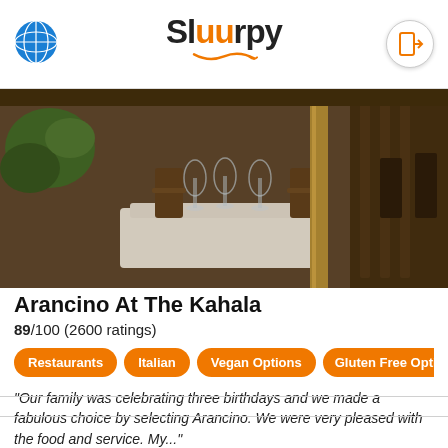Sluurpy
[Figure (photo): Restaurant interior photo showing elegant dining room with wooden chairs, white tablecloths, wine glasses, and warm ambient lighting]
Arancino At The Kahala
89/100 (2600 ratings)
Restaurants
Italian
Vegan Options
Gluten Free Option
"Our family was celebrating three birthdays and we made a fabulous choice by selecting Arancino. We were very pleased with the food and service. My..."
Reiko Stiver